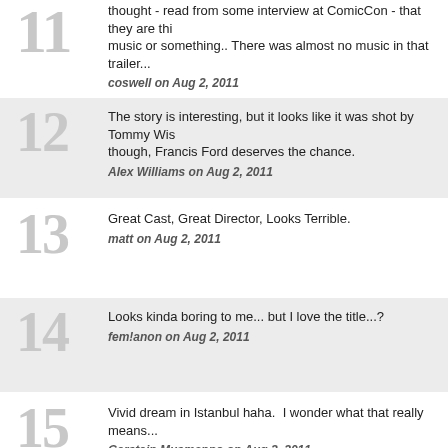11: thought - read from some interview at ComicCon - that they are thinking of removing the music or something.. There was almost no music in that trailer... coswell on Aug 2, 2011
12: The story is interesting, but it looks like it was shot by Tommy Wis though, Francis Ford deserves the chance. Alex Williams on Aug 2, 2011
13: Great Cast, Great Director, Looks Terrible. matt on Aug 2, 2011
14: Looks kinda boring to me... but I love the title...? fem!anon on Aug 2, 2011
15: Vivid dream in Istanbul haha.  I wonder what that really means... Gerstein Musmanno on Aug 2, 2011